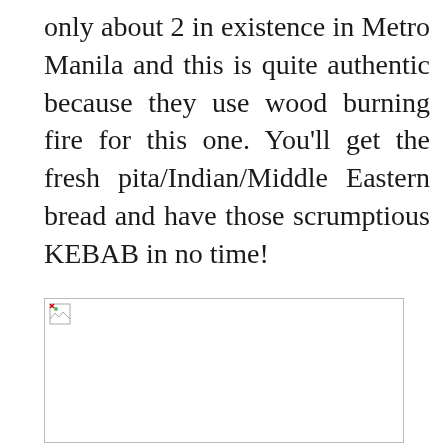only about 2 in existence in Metro Manila and this is quite authentic because they use wood burning fire for this one. You'll get the fresh pita/Indian/Middle Eastern bread and have those scrumptious KEBAB in no time!
[Figure (photo): Broken/unloaded image placeholder with a small broken image icon in the top-left corner, bordered rectangle]